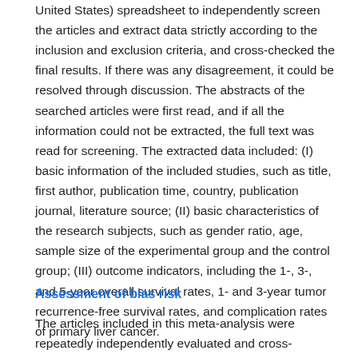United States) spreadsheet to independently screen the articles and extract data strictly according to the inclusion and exclusion criteria, and cross-checked the final results. If there was any disagreement, it could be resolved through discussion. The abstracts of the searched articles were first read, and if all the information could not be extracted, the full text was read for screening. The extracted data included: (I) basic information of the included studies, such as title, first author, publication time, country, publication journal, literature source; (II) basic characteristics of the research subjects, such as gender ratio, age, sample size of the experimental group and the control group; (III) outcome indicators, including the 1-, 3-, and 5-year overall survival rates, 1- and 3-year tumor recurrence-free survival rates, and complication rates of primary liver cancer.
Assessment of bias risk
The articles included in this meta-analysis were repeatedly independently evaluated and cross-checked by 2 professionals in